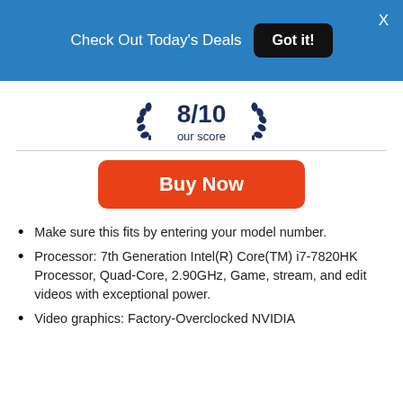Check Out Today's Deals  Got it!  X
8/10 our score
Buy Now
Make sure this fits by entering your model number.
Processor: 7th Generation Intel(R) Core(TM) i7-7820HK Processor, Quad-Core, 2.90GHz, Game, stream, and edit videos with exceptional power.
Video graphics: Factory-Overclocked NVIDIA